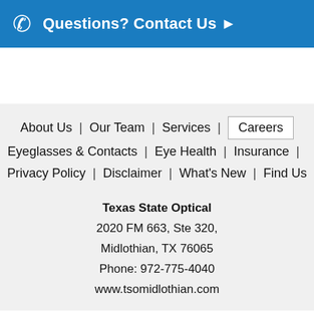[Figure (other): Blue banner with phone icon and 'Questions? Contact Us ▶' text]
About Us | Our Team | Services | Careers
Eyeglasses & Contacts | Eye Health | Insurance |
Privacy Policy | Disclaimer | What's New | Find Us

Texas State Optical
2020 FM 663, Ste 320,
Midlothian, TX 76065
Phone: 972-775-4040
www.tsomidlothian.com